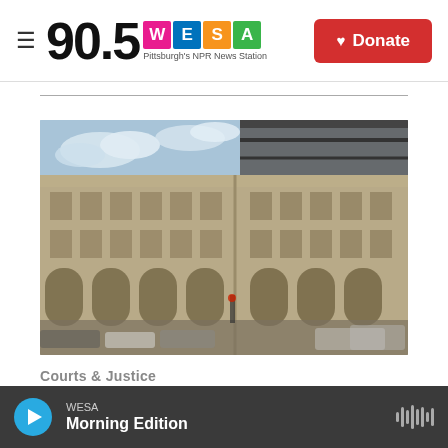90.5 WESA Pittsburgh's NPR News Station | Donate
[Figure (photo): Exterior photo of a large stone courthouse building with arched windows, taken from street level at a corner angle. The building has multiple stories with classical architecture. Street scene visible at bottom with vehicles.]
Courts & Justice
WESA Morning Edition